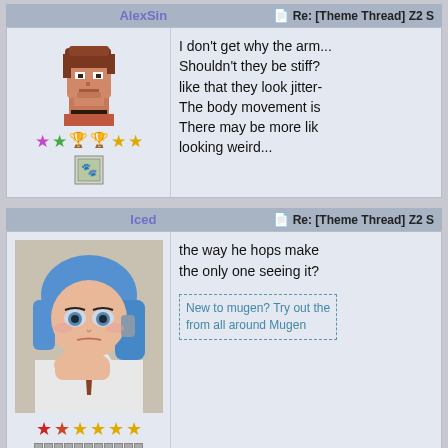AlexSin
Re: [Theme Thread] Z2 S
[Figure (illustration): Pixel art avatar of a brown-haired male character from a forum post by AlexSin]
★★🏆🏆★★ (star/trophy rating icons)
[Figure (illustration): Small badge/icon below stars for AlexSin]
I don't get why the arm... Shouldn't they be stiff? like that they look jitter- The body movement is There may be more lik looking weird...
Iced
Re: [Theme Thread] Z2 S
[Figure (illustration): Anime-style avatar of a blue-haired girl resting her chin on her hand, looking bored or sad, for forum user Iced]
★★★★★★ (star rating icons in red/orange/yellow)
progress bar segments
the way he hops make the only one seeing it?
New to mugen? Try out the from all around Mugen